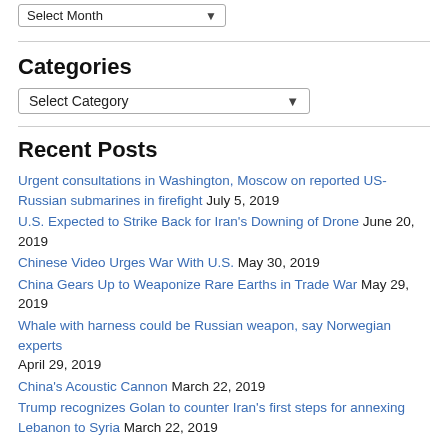Select Month
Categories
Select Category
Recent Posts
Urgent consultations in Washington, Moscow on reported US-Russian submarines in firefight July 5, 2019
U.S. Expected to Strike Back for Iran's Downing of Drone June 20, 2019
Chinese Video Urges War With U.S. May 30, 2019
China Gears Up to Weaponize Rare Earths in Trade War May 29, 2019
Whale with harness could be Russian weapon, say Norwegian experts April 29, 2019
China's Acoustic Cannon March 22, 2019
Trump recognizes Golan to counter Iran's first steps for annexing Lebanon to Syria March 22, 2019